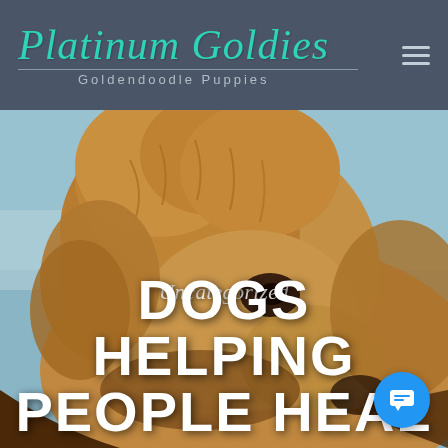Platinum Goldies — Goldendoodle Puppies
[Figure (photo): Close-up photo of a fluffy golden/brown Goldendoodle puppy facing left, with blurred outdoor background. Text overlay reads 'Uncategorized' in italic script and 'DOGS HELPING PEOPLE HEAL' in large bold white uppercase text.]
Uncategorized
DOGS HELPING PEOPLE HEAL